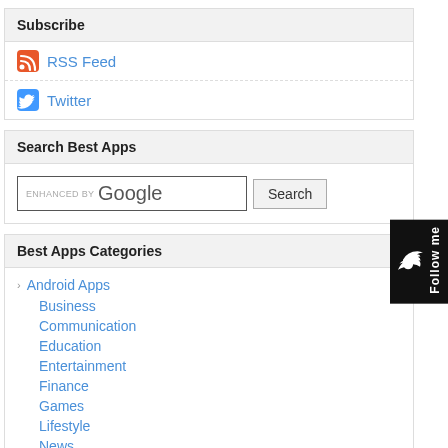Subscribe
RSS Feed
Twitter
Search Best Apps
enhanced by Google [Search]
Best Apps Categories
Android Apps
Business
Communication
Education
Entertainment
Finance
Games
Lifestyle
News
Social & Dating
Tools
Travel